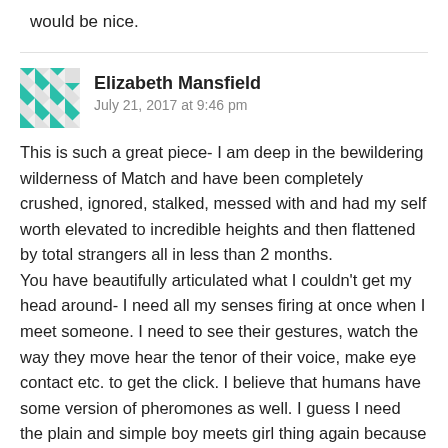would be nice.
Elizabeth Mansfield
July 21, 2017 at 9:46 pm

This is such a great piece- I am deep in the bewildering wilderness of Match and have been completely crushed, ignored, stalked, messed with and had my self worth elevated to incredible heights and then flattened by total strangers all in less than 2 months.
You have beautifully articulated what I couldn't get my head around- I need all my senses firing at once when I meet someone. I need to see their gestures, watch the way they move hear the tenor of their voice, make eye contact etc. to get the click. I believe that humans have some version of pheromones as well. I guess I need the plain and simple boy meets girl thing again because this online world has left me not just alone but lonely.